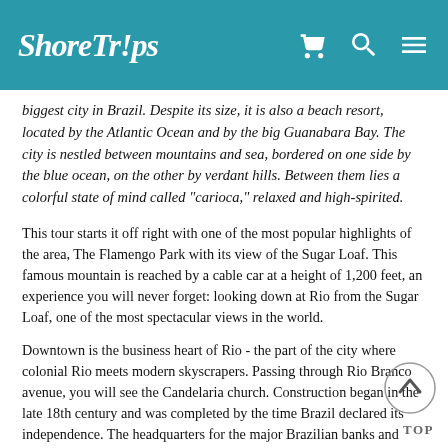ShoreTrips
biggest city in Brazil. Despite its size, it is also a beach resort, located by the Atlantic Ocean and by the big Guanabara Bay. The city is nestled between mountains and sea, bordered on one side by the blue ocean, on the other by verdant hills. Between them lies a colorful state of mind called "carioca," relaxed and high-spirited.
This tour starts it off right with one of the most popular highlights of the area, The Flamengo Park with its view of the Sugar Loaf. This famous mountain is reached by a cable car at a height of 1,200 feet, an experience you will never forget: looking down at Rio from the Sugar Loaf, one of the most spectacular views in the world.
Downtown is the business heart of Rio - the part of the city where colonial Rio meets modern skyscrapers. Passing through Rio Branco avenue, you will see the Candelaria church. Construction began in the late 18th century and was completed by the time Brazil declared its independence. The headquarters for the major Brazilian banks and commercial enterprises are also located on this avenue.
See the Opera House (Teatro Municipal) and the Cariocan Square. Admire the Church of Santo Antonio, built in the 17th century, as well